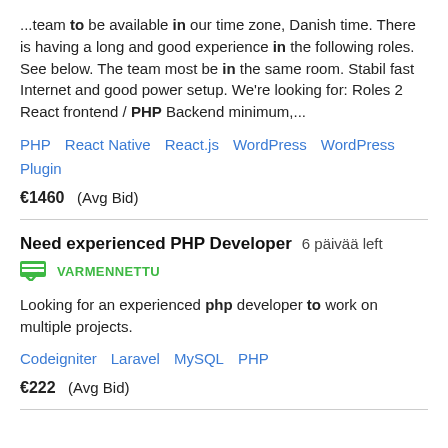...team to be available in our time zone, Danish time. There is having a long and good experience in the following roles. See below. The team most be in the same room. Stabil fast Internet and good power setup. We're looking for: Roles 2 React frontend / PHP Backend minimum,...
PHP   React Native   React.js   WordPress   WordPress Plugin
€1460  (Avg Bid)
Need experienced PHP Developer   6 päivää left
VARMENNETTU
Looking for an experienced php developer to work on multiple projects.
Codeigniter   Laravel   MySQL   PHP
€222  (Avg Bid)